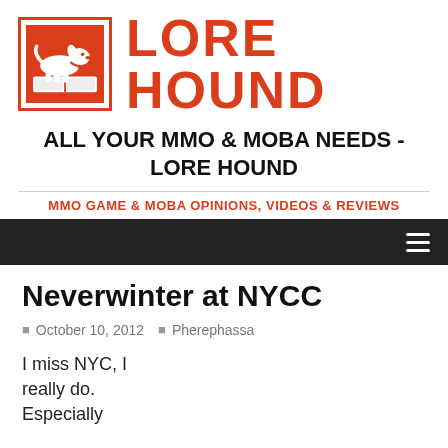[Figure (logo): Lore Hound logo: red dachshund dog reading a book inside a red-bordered square, next to large red bold text reading LORE HOUND]
ALL YOUR MMO & MOBA NEEDS - LORE HOUND
MMO GAME & MOBA OPINIONS, VIDEOS & REVIEWS
Neverwinter at NYCC
October 10, 2012   Pherephassa
I miss NYC, I really do. Especially